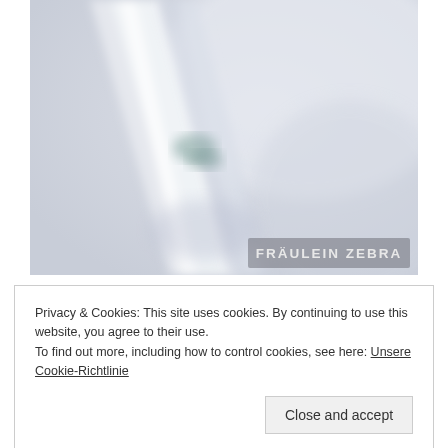[Figure (photo): Close-up blurred photo of what appears to be metal cutlery or scissors, with soft grey and white tones. A watermark 'FRÄULEIN ZEBRA' is visible in the lower right corner of the image.]
Privacy & Cookies: This site uses cookies. By continuing to use this website, you agree to their use.
To find out more, including how to control cookies, see here: Unsere Cookie-Richtlinie